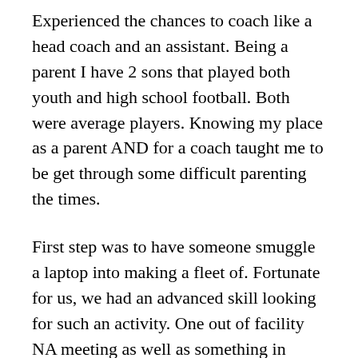Experienced the chances to coach like a head coach and an assistant. Being a parent I have 2 sons that played both youth and high school football. Both were average players. Knowing my place as a parent AND for a coach taught me to be get through some difficult parenting the times.
First step was to have someone smuggle a laptop into making a fleet of. Fortunate for us, we had an advanced skill looking for such an activity. One out of facility NA meeting as well as something in house NA meeting later, I started the proud owner associated with laptop which actually on my possession. Filled with a wireless connection the wireless firm.Sweet!